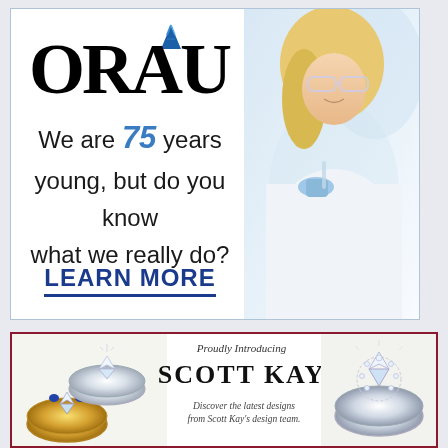[Figure (logo): ORAU logo with blue diamond/triangle shape above the letter A, black serif text 'ORAU']
[Figure (photo): Background photo of female scientist/researcher with blonde hair wearing safety goggles and blue gloves, working in a lab]
We are 75 years young, but do you know what we really do?
LEARN MORE
Proudly Introducing
SCOTT KAY
Discover the latest designs from Scott Kay's design team.
[Figure (photo): Jewelry advertisement showing multiple diamond and gemstone rings on left side]
[Figure (photo): Jewelry advertisement showing diamond ring on right side]